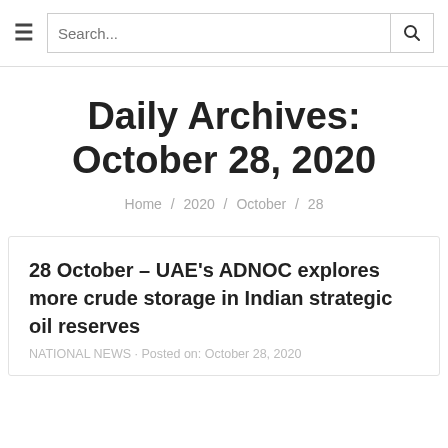Search...
Daily Archives: October 28, 2020
Home / 2020 / October / 28
28 October – UAE's ADNOC explores more crude storage in Indian strategic oil reserves
NATIONAL NEWS · Posted on: October 28, 2020